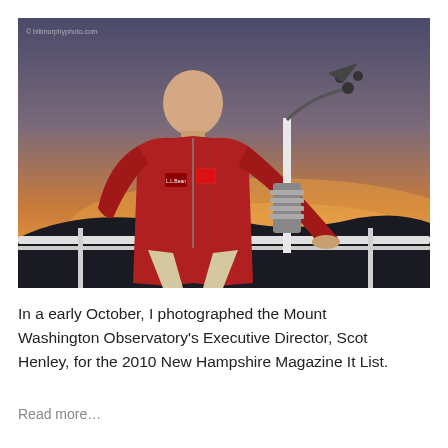[Figure (photo): A man in a red fleece jacket stands outdoors near a weather station instrument on a white pole, with a sunset sky in warm orange and dark silhouetted hills in the background. A small watermark is visible in the upper left corner.]
In a early October, I photographed the Mount Washington Observatory's Executive Director, Scot Henley, for the 2010 New Hampshire Magazine It List.
Read more...